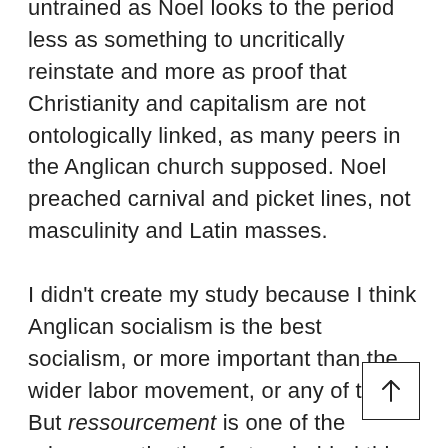untrained as Noel looks to the period less as something to uncritically reinstate and more as proof that Christianity and capitalism are not ontologically linked, as many peers in the Anglican church supposed. Noel preached carnival and picket lines, not masculinity and Latin masses.
I didn't create my study because I think Anglican socialism is the best socialism, or more important than the wider labor movement, or any of that. But ressourcement is one of the primary motivating factors behind this magazine. There isn't